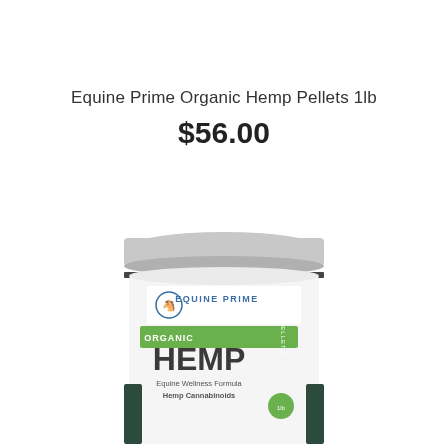Equine Prime Organic Hemp Pellets 1lb
$56.00
[Figure (photo): Product photo of a white cylindrical container with a grey lid labeled 'Equine Prime Organic Hemp Pellets'. The label features the Equine Prime logo with a horse, green banner with 'ORGANIC HEMP PELLETS' text, and 'Equine Wellness Formula Hemp Cannabinoids' underneath.]